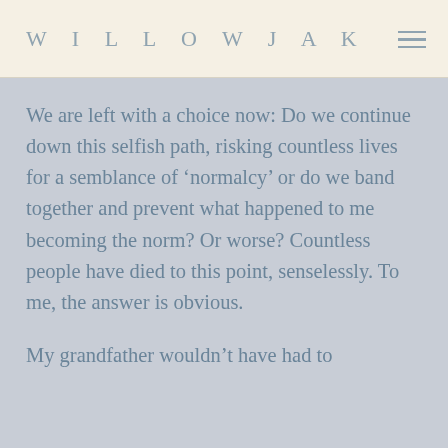WILLOWJAK
We are left with a choice now: Do we continue down this selfish path, risking countless lives for a semblance of ‘normalcy’ or do we band together and prevent what happened to me becoming the norm? Or worse? Countless people have died to this point, senselessly. To me, the answer is obvious.
My grandfather wouldn’t have had to